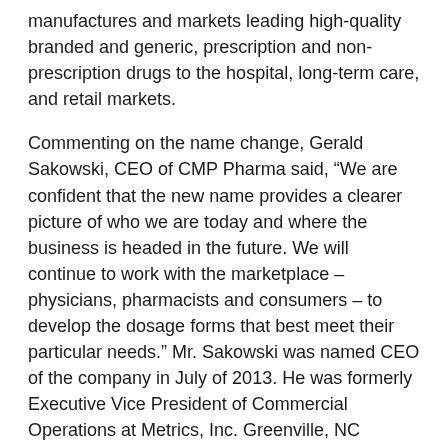manufactures and markets leading high-quality branded and generic, prescription and non-prescription drugs to the hospital, long-term care, and retail markets.
Commenting on the name change, Gerald Sakowski, CEO of CMP Pharma said, “We are confident that the new name provides a clearer picture of who we are today and where the business is headed in the future. We will continue to work with the marketplace – physicians, pharmacists and consumers – to develop the dosage forms that best meet their particular needs.” Mr. Sakowski was named CEO of the company in July of 2013. He was formerly Executive Vice President of Commercial Operations at Metrics, Inc. Greenville, NC
CMP Pharma was founded by Henry Smith as Carolina Medical Products (CMP) Company in 1975 while he was a professor of drug manufacturing at the University of North Carolina at Chapel Hill’s School of Pharmacy. In 1982, CMP Pharma’s SPS® Suspension was the first FDA